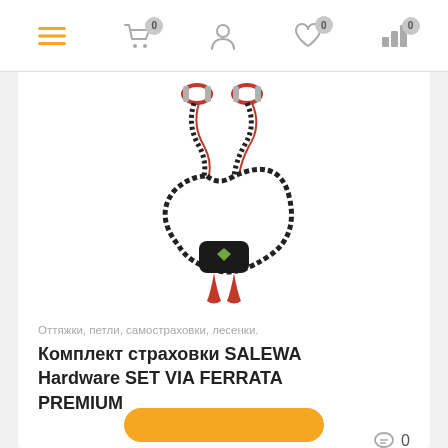Navigation bar with menu, cart (0), account, wishlist (0), stats (0) icons
[Figure (photo): Salewa Hardware SET VIA FERRATA PREMIUM safety set product photo — black bungee cord lanyard with two red carabiners at top and a black branded clip at center bottom with red loop]
Оттяжки, петли, самостраховки, лесенки.
Комплект страховки SALEWA Hardware SET VIA FERRATA PREMIUM
0
7 490 р.